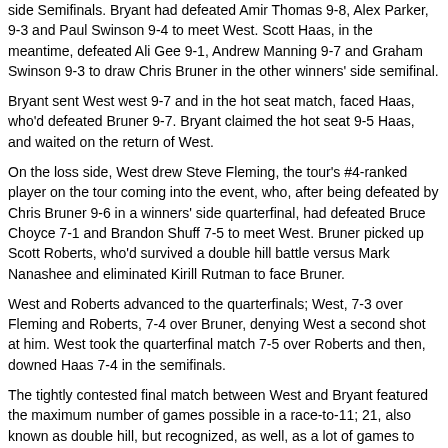side Semifinals. Bryant had defeated Amir Thomas 9-8, Alex Parker, 9-3 and Paul Swinson 9-4 to meet West. Scott Haas, in the meantime, defeated Ali Gee 9-1, Andrew Manning 9-7 and Graham Swinson 9-3 to draw Chris Bruner in the other winners' side semifinal.
Bryant sent West west 9-7 and in the hot seat match, faced Haas, who'd defeated Bruner 9-7. Bryant claimed the hot seat 9-5 Haas, and waited on the return of West.
On the loss side, West drew Steve Fleming, the tour's #4-ranked player on the tour coming into the event, who, after being defeated by Chris Bruner 9-6 in a winners' side quarterfinal, had defeated Bruce Choyce 7-1 and Brandon Shuff 7-5 to meet West. Bruner picked up Scott Roberts, who'd survived a double hill battle versus Mark Nanashee and eliminated Kirill Rutman to face Bruner.
West and Roberts advanced to the quarterfinals; West, 7-3 over Fleming and Roberts, 7-4 over Bruner, denying West a second shot at him. West took the quarterfinal match 7-5 over Roberts and then, downed Haas 7-4 in the semifinals.
The tightly contested final match between West and Bryant featured the maximum number of games possible in a race-to-11; 21, also known as double hill, but recognized, as well, as a lot of games to play to decide a winner. West dropped the final 9-Ball to claim his second Bob Stocks Memorial title.